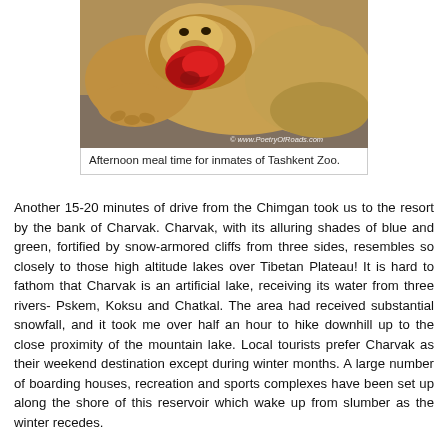[Figure (photo): A lion eating meat (raw flesh), photographed at Tashkent Zoo. Watermark reads: © www.PoetryOfRoads.com]
Afternoon meal time for inmates of Tashkent Zoo.
Another 15-20 minutes of drive from the Chimgan took us to the resort by the bank of Charvak. Charvak, with its alluring shades of blue and green, fortified by snow-armored cliffs from three sides, resembles so closely to those high altitude lakes over Tibetan Plateau! It is hard to fathom that Charvak is an artificial lake, receiving its water from three rivers- Pskem, Koksu and Chatkal. The area had received substantial snowfall, and it took me over half an hour to hike downhill up to the close proximity of the mountain lake. Local tourists prefer Charvak as their weekend destination except during winter months. A large number of boarding houses, recreation and sports complexes have been set up along the shore of this reservoir which wake up from slumber as the winter recedes.